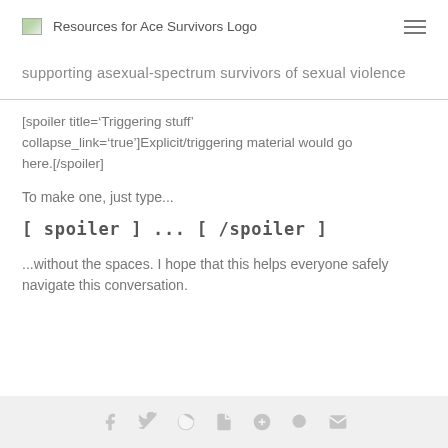Resources for Ace Survivors Logo
supporting asexual-spectrum survivors of sexual violence
[spoiler title='Triggering stuff' collapse_link='true']Explicit/triggering material would go here.[/spoiler]
To make one, just type...
...without the spaces. I hope that this helps everyone safely navigate this conversation.
social share icons